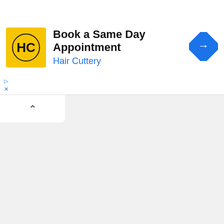[Figure (screenshot): Hair Cuttery advertisement banner with yellow logo, 'Book a Same Day Appointment' text, blue navigation arrow icon on right]
[Figure (screenshot): SemiOffice.Com website navigation bar with logo text on left and MENU button on right]
[Figure (screenshot): Dark navy advertisement banner reading 'Privacy and Data Discovery Solutions for Modern Businesses' with person typing on laptop photo on right]